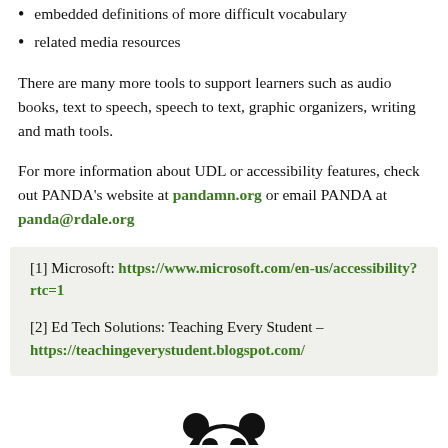embedded definitions of more difficult vocabulary
related media resources
There are many more tools to support learners such as audio books, text to speech, speech to text, graphic organizers, writing and math tools.
For more information about UDL or accessibility features, check out PANDA's website at pandamn.org or email PANDA at panda@rdale.org
[1] Microsoft: https://www.microsoft.com/en-us/accessibility?rtc=1
[2] Ed Tech Solutions: Teaching Every Student – https://teachingeverystudent.blogspot.com/
[Figure (illustration): Partial image of a panda at the bottom of the page]